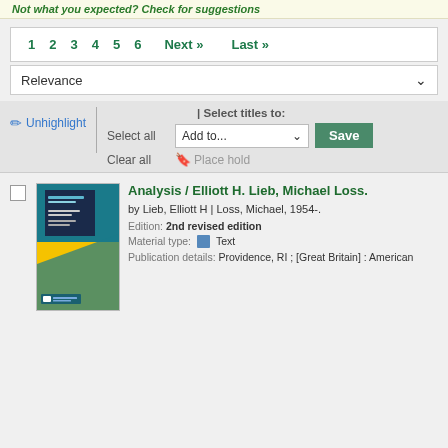Not what you expected? Check for suggestions
1 2 3 4 5 6 Next » Last »
Relevance
✏ Unhighlight | | Select titles to: Select all Add to... Save Clear all 🔖 Place hold
[Figure (photo): Book cover of Analysis by Elliott H. Lieb and Michael Loss — yellow and teal cover]
Analysis / Elliott H. Lieb, Michael Loss.
by Lieb, Elliott H | Loss, Michael, 1954-.
Edition: 2nd revised edition
Material type: Text
Publication details: Providence, RI ; [Great Britain] : American